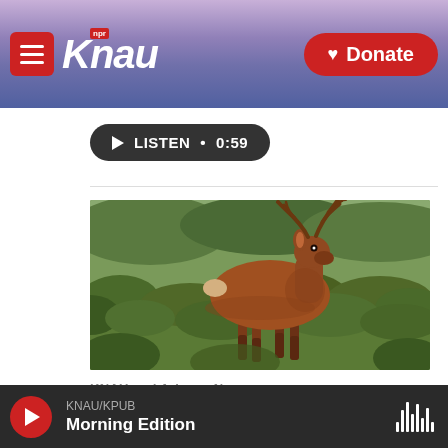KNAU NPR — Donate
[Figure (other): LISTEN • 0:59 audio player button]
[Figure (photo): A brown elk with antlers standing in scrubby green brush, looking at camera]
KNAU and Arizona News
KNAU/KPUB Morning Edition